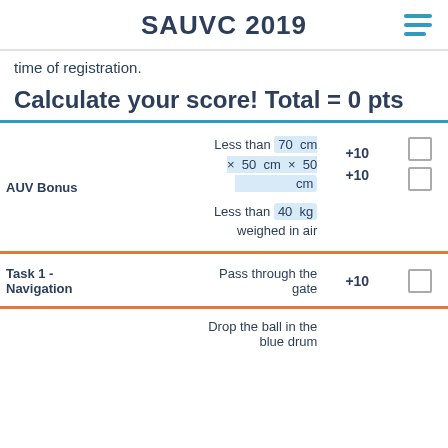SAUVC 2019
time of registration.
Calculate your score! Total = 0 pts
|  | Description | Score |  |
| --- | --- | --- | --- |
| AUV Bonus | Less than 70 cm × 50 cm × 50 cm | +10 | ☐ |
|  | Less than 40 kg weighed in air | +10 | ☐ |
| Task 1 - Navigation | Pass through the gate | +10 | ☐ |
|  | Drop the ball in the blue drum |  |  |